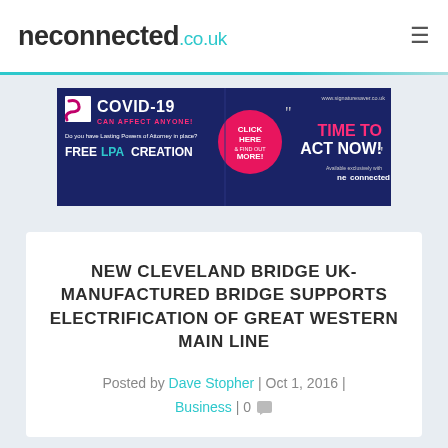neconnected.co.uk
[Figure (infographic): COVID-19 advertisement banner for SignatureSaver LPA creation service. Dark blue background with text: COVID-19 CAN AFFECT ANYONE! Do you have Lasting Powers of Attorney in place? FREE LPA CREATION. Pink circle with CLICK HERE & FIND OUT MORE. Right side: www.signaturesaver.co.uk, TIME TO ACT NOW!, Available exclusively with neconnected.co.uk]
NEW CLEVELAND BRIDGE UK-MANUFACTURED BRIDGE SUPPORTS ELECTRIFICATION OF GREAT WESTERN MAIN LINE
Posted by Dave Stopher | Oct 1, 2016 | Business | 0